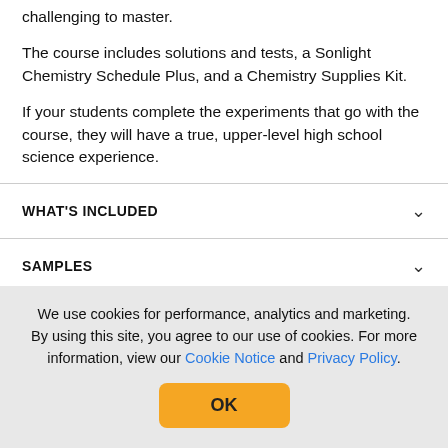challenging to master.
The course includes solutions and tests, a Sonlight Chemistry Schedule Plus, and a Chemistry Supplies Kit.
If your students complete the experiments that go with the course, they will have a true, upper-level high school science experience.
WHAT'S INCLUDED
SAMPLES
CUSTOMER REVIEWS
ADDITIONAL ITEMS
FAQS
We use cookies for performance, analytics and marketing. By using this site, you agree to our use of cookies. For more information, view our Cookie Notice and Privacy Policy.